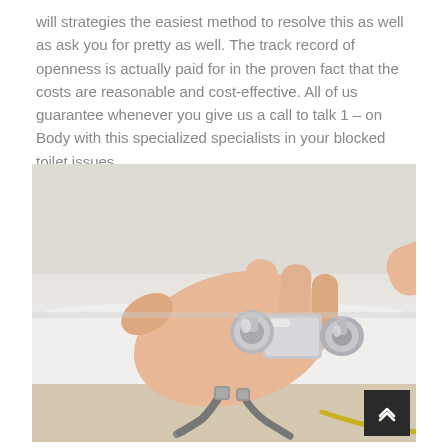will strategies the easiest method to resolve this as well as ask you for pretty as well. The track record of openness is actually paid for in the proven fact that the costs are reasonable and cost-effective. All of us guarantee whenever you give us a call to talk 1 – on Body with this specialized specialists in your blocked toilet issues.
[Figure (photo): A person's hand working on chrome bathroom faucet fixtures mounted on a white sink, with flexible metal hose connections visible underneath. Photo taken from an angle showing the top and underside of the sink.]